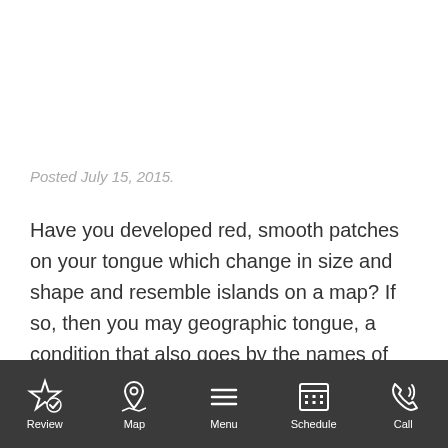Posted July 15, 2015.
Have you developed red, smooth patches on your tongue which change in size and shape and resemble islands on a map? If so, then you may geographic tongue, a condition that also goes by the names of erythema migrans and benign migratory glossitis. You may have
Review | Map | Menu | Schedule | Call